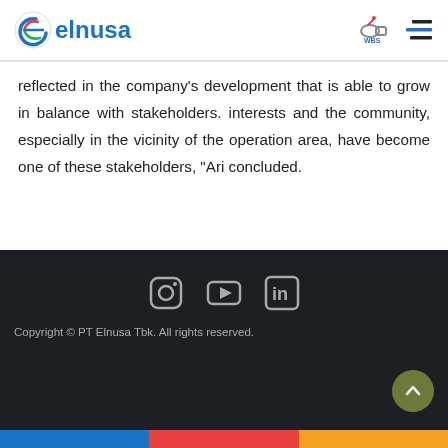elnusa
reflected in the company's development that is able to grow in balance with stakeholders. interests and the community, especially in the vicinity of the operation area, have become one of these stakeholders, "Ari concluded.
Back to News
Copyright © PT Elnusa Tbk. All rights reserved.